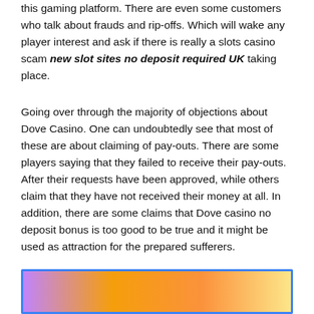this gaming platform. There are even some customers who talk about frauds and rip-offs. Which will wake any player interest and ask if there is really a slots casino scam new slot sites no deposit required UK taking place.
Going over through the majority of objections about Dove Casino. One can undoubtedly see that most of these are about claiming of pay-outs. There are some players saying that they failed to receive their pay-outs. After their requests have been approved, while others claim that they have not received their money at all. In addition, there are some claims that Dove casino no deposit bonus is too good to be true and it might be used as attraction for the prepared sufferers.
[Figure (illustration): Colorful gradient image strip with purple, gold, orange and yellow tones, bordered in blue]